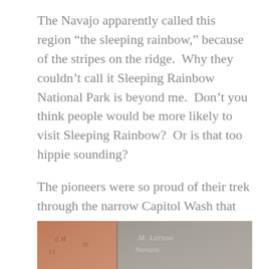The Navajo apparently called this region “the sleeping rainbow,” because of the stripes on the ridge.  Why they couldn’t call it Sleeping Rainbow National Park is beyond me.  Don’t you think people would be more likely to visit Sleeping Rainbow?  Or is that too hippie sounding?
The pioneers were so proud of their trek through the narrow Capitol Wash that they took time to create a name register on the walls.  Very cool:
[Figure (photo): A photo showing pioneer name carvings/etchings on rock walls. The image is split into two panels: the left panel shows reddish-brown sandstone with carved letters, and the right panel shows lighter grey rock with cursive inscriptions that appear to read 'M. Larson' and 'Novaro' or similar pioneer names.]